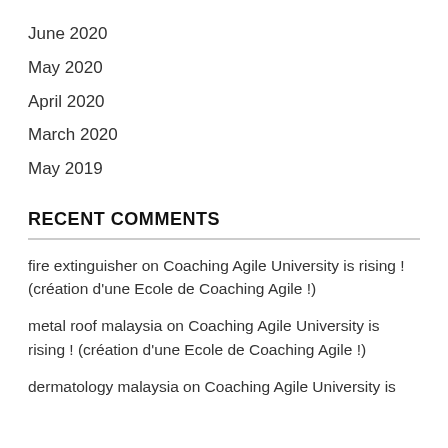June 2020
May 2020
April 2020
March 2020
May 2019
RECENT COMMENTS
fire extinguisher on Coaching Agile University is rising ! (création d'une Ecole de Coaching Agile !)
metal roof malaysia on Coaching Agile University is rising ! (création d'une Ecole de Coaching Agile !)
dermatology malaysia on Coaching Agile University is